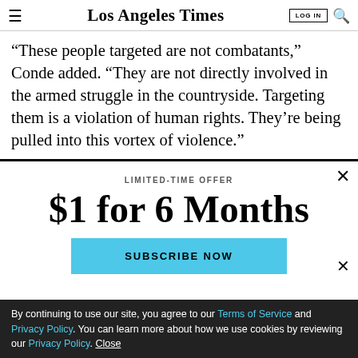Los Angeles Times
“These people targeted are not combatants,” Conde added. “They are not directly involved in the armed struggle in the countryside. Targeting them is a violation of human rights. They’re being pulled into this vortex of violence.”
LIMITED-TIME OFFER
$1 for 6 Months
SUBSCRIBE NOW
By continuing to use our site, you agree to our Terms of Service and Privacy Policy. You can learn more about how we use cookies by reviewing our Privacy Policy. Close